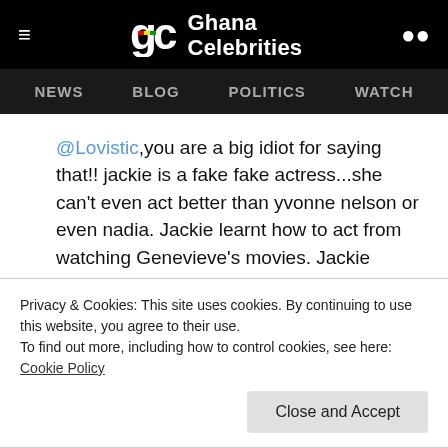Ghana Celebrities — NEWS  BLOG  POLITICS  WATCH
@Lovistic,you are a big idiot for saying that!! jackie is a fake fake actress...she can't even act better than yvonne nelson or even nadia. Jackie learnt how to act from watching Genevieve's movies. Jackie cannot even come close to Ini Edo, or africa:::::
Privacy & Cookies: This site uses cookies. By continuing to use this website, you agree to their use.
To find out more, including how to control cookies, see here:
Cookie Policy
Close and Accept